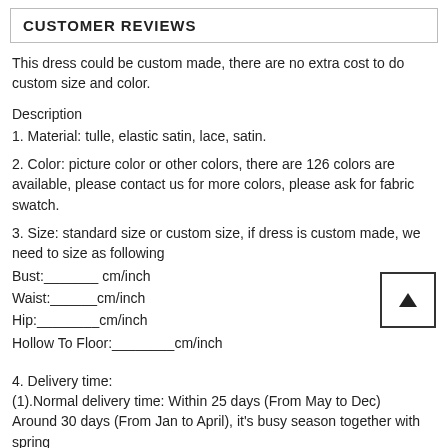CUSTOMER REVIEWS
This dress could be custom made, there are no extra cost to do custom size and color.
Description
1. Material: tulle, elastic satin, lace, satin.
2. Color: picture color or other colors, there are 126 colors are available, please contact us for more colors, please ask for fabric swatch.
3. Size: standard size or custom size, if dress is custom made, we need to size as following
Bust:_______ cm/inch
Waist:______cm/inch
Hip:________cm/inch
Hollow To Floor:________cm/inch
4. Delivery time:
(1).Normal delivery time: Within 25 days (From May to Dec)
Around 30 days (From Jan to April), it's busy season together with spring